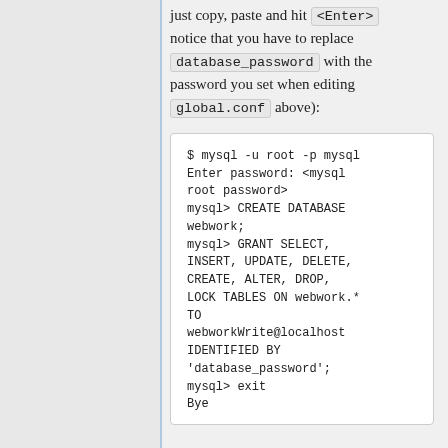just copy, paste and hit <Enter> notice that you have to replace database_password with the password you set when editing global.conf above):
$ mysql -u root -p mysql
Enter password: <mysql root password>
mysql> CREATE DATABASE webwork;
mysql> GRANT SELECT, INSERT, UPDATE, DELETE, CREATE, ALTER, DROP, LOCK TABLES ON webwork.* TO webworkWrite@localhost IDENTIFIED BY 'database_password';
mysql> exit
Bye